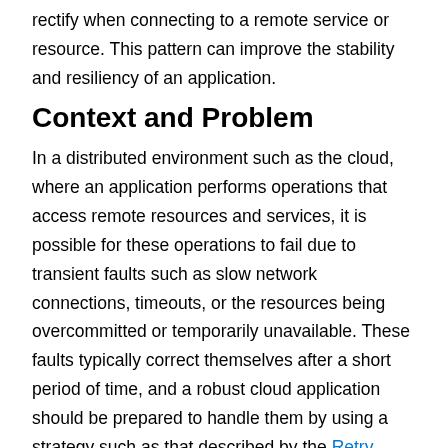rectify when connecting to a remote service or resource. This pattern can improve the stability and resiliency of an application.
Context and Problem
In a distributed environment such as the cloud, where an application performs operations that access remote resources and services, it is possible for these operations to fail due to transient faults such as slow network connections, timeouts, or the resources being overcommitted or temporarily unavailable. These faults typically correct themselves after a short period of time, and a robust cloud application should be prepared to handle them by using a strategy such as that described by the Retry pattern.
However, there may also be situations where faults are due to unexpected events that are less easily anticipated, and